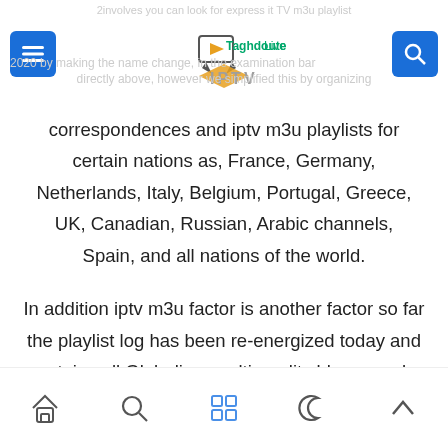Taghdoute Live IPTV
2020 by making the name change, in the examination bar directly above, however we simplified this by organizing correspondences and iptv m3u playlists for certain nations as, France, Germany, Netherlands, Italy, Belgium, Portugal, Greece, UK, Canadian, Russian, Arabic channels, Spain, and all nations of the world.
In addition iptv m3u factor is another factor so far the playlist log has been re-energized today and contains all Globalism multi-quality bloom packs for the sharp TV and PC.
Navigation bar with home, search, grid, moon, and up icons